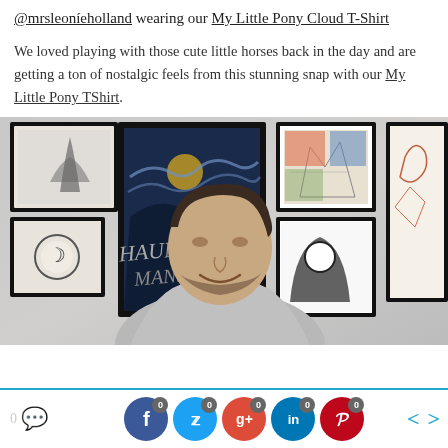@mrsleoníeholland wearing our My Little Pony Cloud T-Shirt
We loved playing with those cute little horses back in the day and are getting a ton of nostalgic feels from this stunning snap with our My Little Pony TShirt.
[Figure (photo): A young man wearing a grey hoodie, smiling, standing in front of a wall covered with various framed artworks and posters.]
0 [comment icon] | 0 [Facebook] | 0 [Twitter] | 0 [Google+] | 0 [LinkedIn] | 0 [Pinterest] | < | >